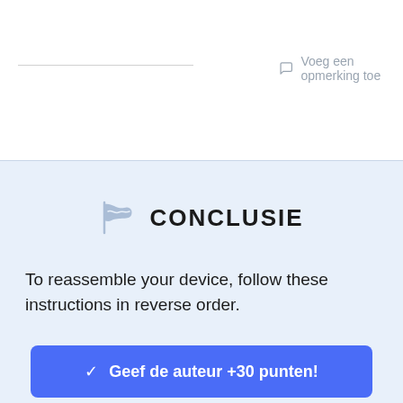Voeg een opmerking toe
CONCLUSIE
To reassemble your device, follow these instructions in reverse order.
Geef de auteur +30 punten!
43 andere personen hebben deze handleiding voltooid.